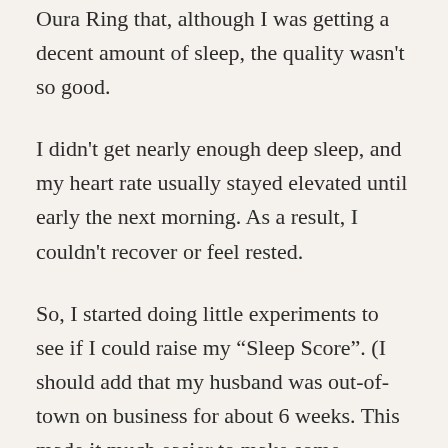Oura Ring that, although I was getting a decent amount of sleep, the quality wasn't so good.
I didn't get nearly enough deep sleep, and my heart rate usually stayed elevated until early the next morning. As a result, I couldn't recover or feel rested.
So, I started doing little experiments to see if I could raise my “Sleep Score”. (I should add that my husband was out-of-town on business for about 6 weeks. This made it much easier to make some tweaks.)
Here’s a list of everything I tried in an